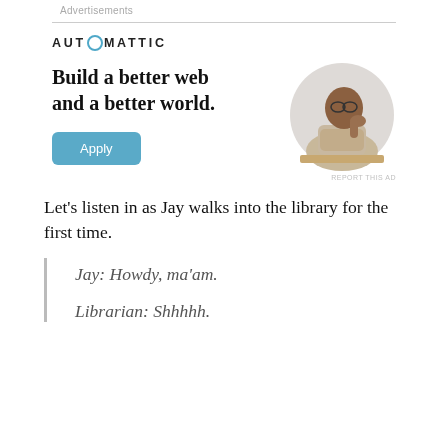Advertisements
[Figure (illustration): Automattic advertisement banner with logo, headline 'Build a better web and a better world.', an Apply button, and a circular photo of a person thinking at a desk.]
Let’s listen in as Jay walks into the library for the first time.
Jay:  Howdy, ma’am.
Librarian:  Shhhhh.